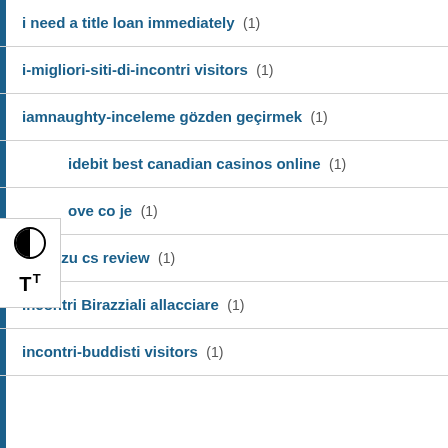i need a title loan immediately (1)
i-migliori-siti-di-incontri visitors (1)
iamnaughty-inceleme gözden geçirmek (1)
idebit best canadian casinos online (1)
ove co je (1)
imeetzu cs review (1)
Incontri Birazziali allacciare (1)
incontri-buddisti visitors (1)